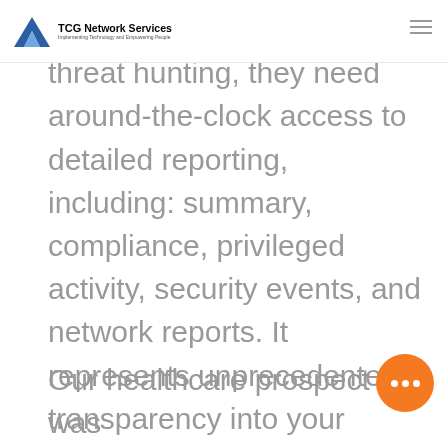TCG Network Services — Implementing Technology and Empowering People
boxes. When our team is threat hunting, they need around-the-clock access to detailed reporting, including: summary, compliance, privileged activity, security events, and network reports. It represents unprecedented transparency into your network, its vulnerabilities, and every intrusion attempt that has been detected and stopped
Our healthcare prospect was